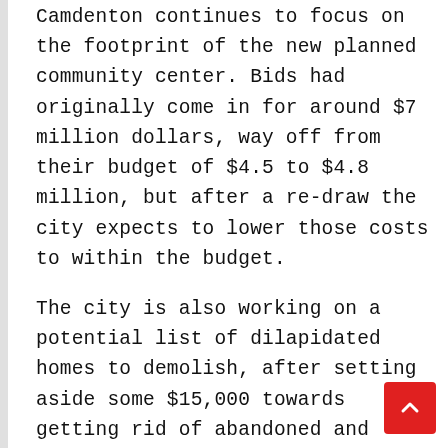Camdenton continues to focus on the footprint of the new planned community center. Bids had originally come in for around $7 million dollars, way off from their budget of $4.5 to $4.8 million, but after a re-draw the city expects to lower those costs to within the budget.
The city is also working on a potential list of dilapidated homes to demolish, after setting aside some $15,000 towards getting rid of abandoned and destroyed homes that have been left vacant for several years.